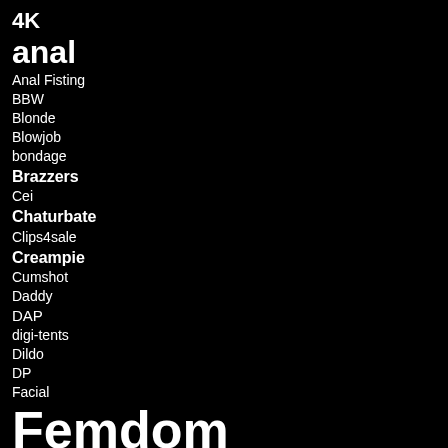4K
anal
Anal Fisting
BBW
Blonde
Blowjob
bondage
Brazzers
Cei
Chaturbate
Clips4sale
Creampie
Cumshot
Daddy
DAP
digi-tents
Dildo
DP
Facial
Femdom
Footjob
FTVGirls
Handjob
Hardcore